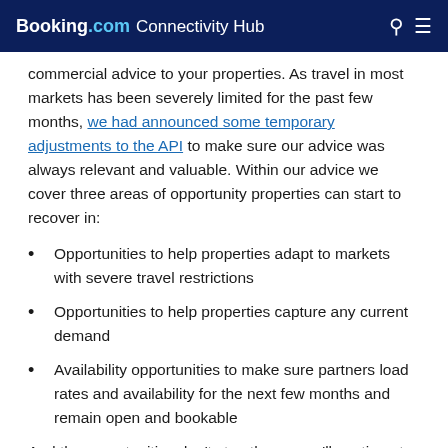Booking.com Connectivity Hub
commercial advice to your properties. As travel in most markets has been severely limited for the past few months, we had announced some temporary adjustments to the API to make sure our advice was always relevant and valuable. Within our advice we cover three areas of opportunity properties can start to recover in:
Opportunities to help properties adapt to markets with severe travel restrictions
Opportunities to help properties capture any current demand
Availability opportunities to make sure partners load rates and availability for the next few months and remain open and bookable
And the opportunities don’t stop there – we’ll continue to